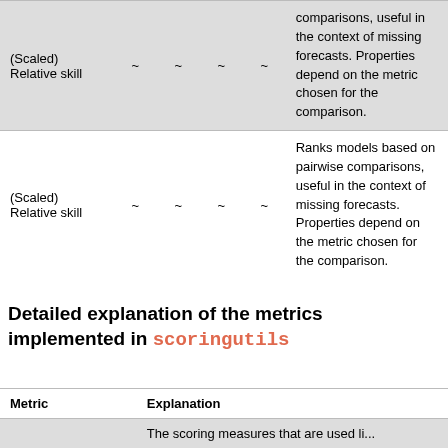| Metric | ~ | ~ | ~ | ~ | Explanation |
| --- | --- | --- | --- | --- | --- |
| (Scaled) Relative skill | ~ | ~ | ~ | ~ | comparisons, useful in the context of missing forecasts. Properties depend on the metric chosen for the comparison. |
| (Scaled) Relative skill | ~ | ~ | ~ | ~ | Ranks models based on pairwise comparisons, useful in the context of missing forecasts. Properties depend on the metric chosen for the comparison. |
Detailed explanation of the metrics implemented in scoringutils
| Metric | Explanation |
| --- | --- |
|  | The scoring measures that are used li... |